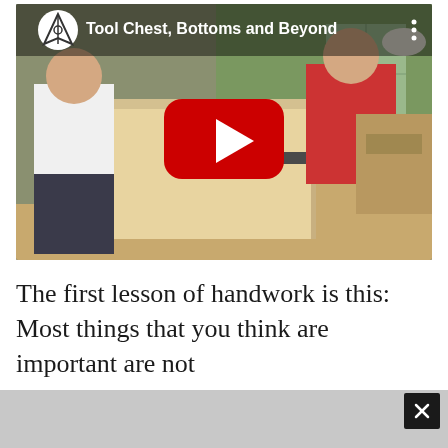[Figure (screenshot): YouTube video thumbnail for 'Tool Chest, Bottoms and Beyond' showing two people working on a wooden tool chest in a workshop. A red YouTube play button is overlaid in the center. A channel logo (compass/triangle icon) is in the top left with the video title.]
The first lesson of handwork is this: Most things that you think are important are not